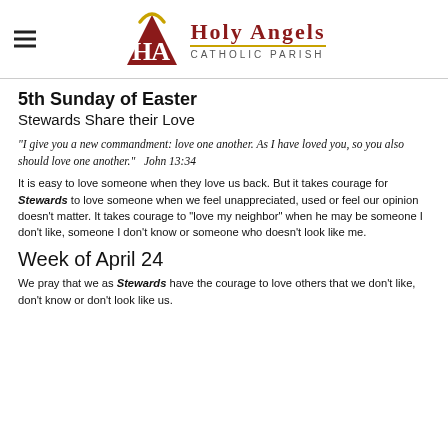[Figure (logo): Holy Angels Catholic Parish logo with HA monogram and halo, red and gold colors]
5th Sunday of Easter
Stewards Share their Love
"I give you a new commandment: love one another.  As I have loved you, so you also should love one another."  John 13:34
It is easy to love someone when they love us back.  But it takes courage for Stewards to love someone when we feel unappreciated, used or feel our opinion doesn't matter.  It takes courage to "love my neighbor" when he may be someone I don't like, someone I don't know or someone who doesn't look like me.
Week of April 24
We pray that we as Stewards have the courage to love others that we don't like, don't know or don't look like us.